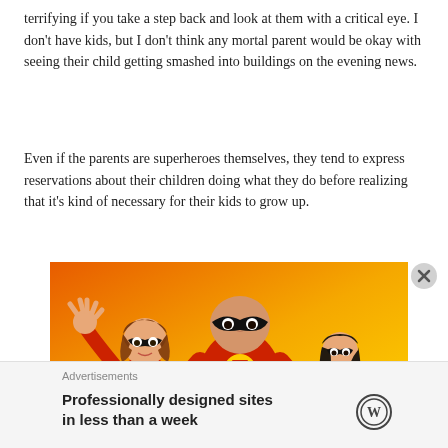terrifying if you take a step back and look at them with a critical eye.  I don't have kids, but I don't think any mortal parent would be okay with seeing their child getting smashed into buildings on the evening news.
Even if the parents are superheroes themselves, they tend to express reservations about their children doing what they do before realizing that it's kind of necessary for their kids to grow up.
[Figure (illustration): Scene from The Incredibles animated movie showing three superhero characters in red and black costumes against an orange-yellow gradient background. A woman with brown bob haircut on the left with hand raised, a large muscular man in center, and a teenage girl with dark hair on the right.]
Advertisements
Professionally designed sites in less than a week